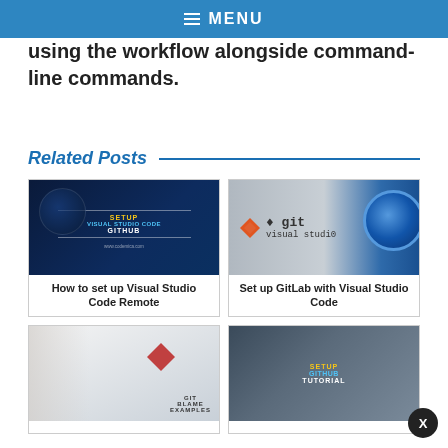MENU
using the workflow alongside command-line commands.
Related Posts
[Figure (screenshot): Screenshot thumbnail: Setup Visual Studio Code GitHub - dark blue background with globe imagery and yellow/blue text]
How to set up Visual Studio Code Remote
[Figure (screenshot): Screenshot thumbnail: git visual studio - grey gradient background with orange git diamond logo and monospace text, blue circle]
Set up GitLab with Visual Studio Code
[Figure (screenshot): Screenshot thumbnail: GIT BLAME EXAMPLES - light grey background with red diamond git logo]
[Figure (screenshot): Screenshot thumbnail: SETUP GITHUB TUTORIAL - dark grey/teal background with yellow and blue text]